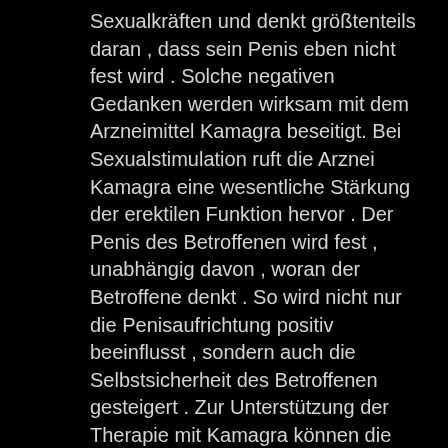Sexualkräften und denkt größtenteils daran , dass sein Penis eben nicht fest wird . Solche negativen Gedanken werden wirksam mit dem Arzneimittel Kamagra beseitigt. Bei Sexualstimulation ruft die Arznei Kamagra eine wesentliche Stärkung der erektilen Funktion hervor . Der Penis des Betroffenen wird fest , unabhängig davon , woran der Betroffene denkt . So wird nicht nur die Penisaufrichtung positiv beeinflusst , sondern auch die Selbstsicherheit des Betroffenen gesteigert . Zur Unterstützung der Therapie mit Kamagra können die betroffenen Frau und Mann sexualtherapeutische Beratung in Anspruch nehmen . Alternativ bestehen folgende